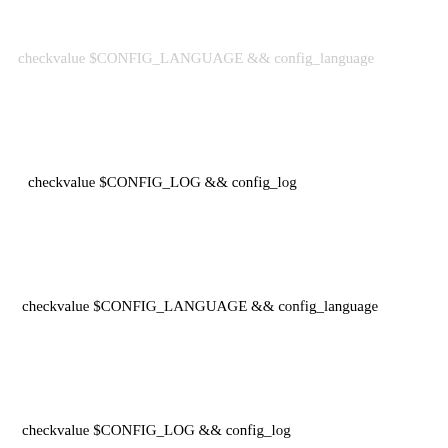checkvalue $CONFIG_LANGUAGE && config_language
checkvalue $CONFIG_LOG && config_log
checkvalue $CONFIG_LANGUAGE && config_language
checkvalue $CONFIG_LOG && config_log
-checkvalue $CONFIG_SWSPEAK && config_swspeak
-
-checkvalue $CONFIG_FWTIMEOUT && config_fwtimeout
-
-checkvalue $CONFIG_FIX_PASSWD && config_fix_passwd
-
-[ -n "$SPLASH" ] && /usr/bin/grml-bootsplash "||">/dev/tty7
-
checkvalue $CONFIG_HOSTNAME && config_hostname
checkvalue $CONFIG_HOSTNAME && config_hostname
-checkvalue $CONFIG_USERFSTAB && config_userfstab
-
checkvalue $CONFIG_TIME && config_time
checkvalue $CONFIG_KERNEL &&  config_kernel